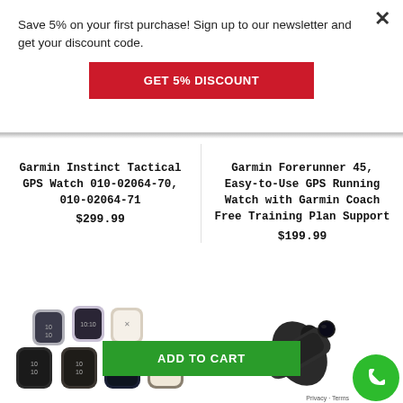Save 5% on your first purchase! Sign up to our newsletter and get your discount code.
GET 5% DISCOUNT
Garmin Instinct Tactical GPS Watch 010-02064-70, 010-02064-71
$299.99
Garmin Forerunner 45, Easy-to-Use GPS Running Watch with Garmin Coach Free Training Plan Support
$199.99
[Figure (photo): Group of Garmin Venu Sq smartwatches in various colors]
[Figure (photo): Garmin monocular/spotting scope in black]
ADD TO CART
Privacy · Terms